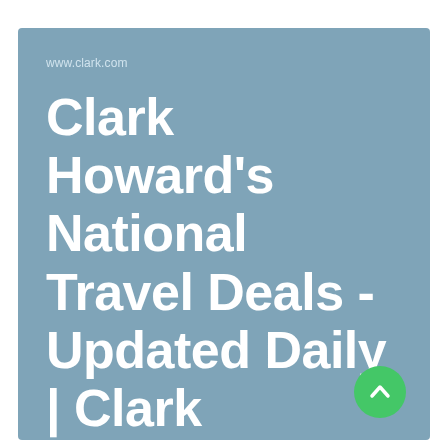www.clark.com
Clark Howard's National Travel Deals - Updated Daily | Clark Howard
[Figure (illustration): Green circular scroll-to-top button with white upward chevron arrow in bottom-right corner]